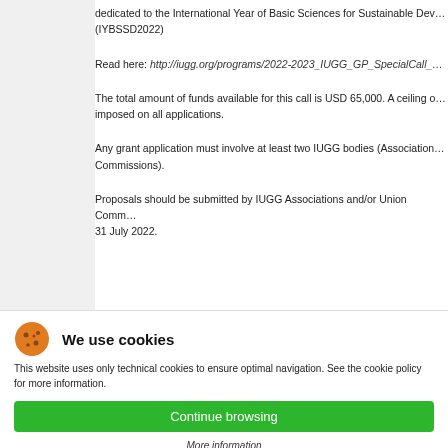dedicated to the International Year of Basic Sciences for Sustainable Development (IYBSSD2022)
Read here: http://iugg.org/programs/2022-2023_IUGG_GP_SpecialCall_…
The total amount of funds available for this call is USD 65,000. A ceiling of … imposed on all applications.
Any grant application must involve at least two IUGG bodies (Associations … Commissions).
Proposals should be submitted by IUGG Associations and/or Union Commissions … 31 July 2022.
We use cookies
This website uses only technical cookies to ensure optimal navigation. See the cookie policy for more information.
Continue browsing
More information